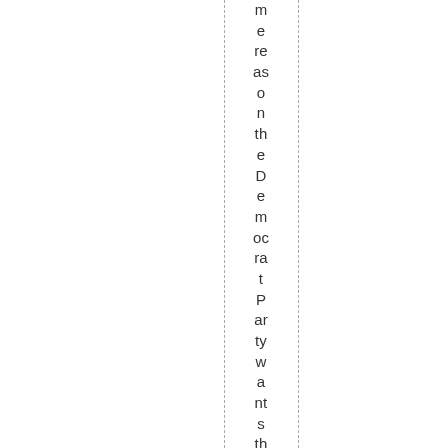me reason the Democrat Party wants them to rn down: